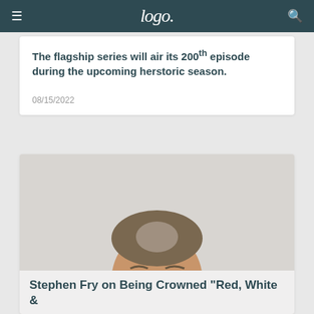Logo.
The flagship series will air its 200th episode during the upcoming herstoric season.
08/15/2022
[Figure (photo): Portrait photo of Stephen Fry, a middle-aged man with grey-streaked brown hair, wearing a plaid shirt and dark cardigan, smiling against a light grey background.]
Stephen Fry on Being Crowned "Red, White &